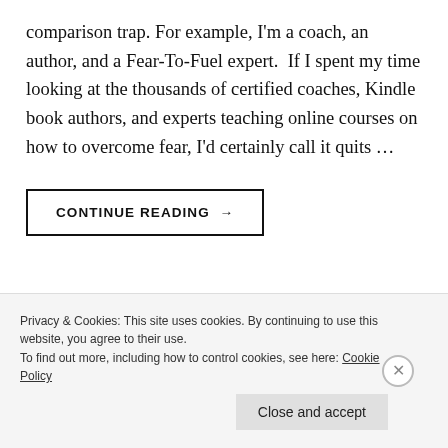comparison trap. For example, I'm a coach, an author, and a Fear-To-Fuel expert.  If I spent my time looking at the thousands of certified coaches, Kindle book authors, and experts teaching online courses on how to overcome fear, I'd certainly call it quits …
CONTINUE READING →
Privacy & Cookies: This site uses cookies. By continuing to use this website, you agree to their use.
To find out more, including how to control cookies, see here: Cookie Policy
Close and accept